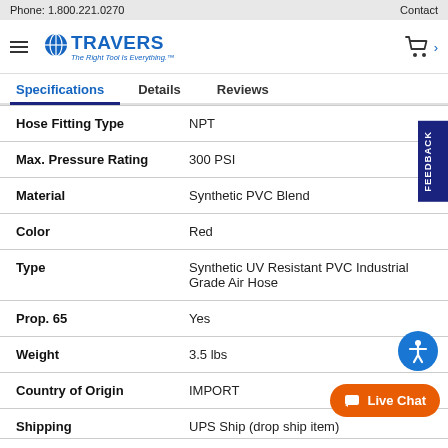Phone: 1.800.221.0270   Contact
[Figure (logo): Travers Tool Co. logo with text 'TRAVERS The Right Tool Is Everything.']
Specifications   Details   Reviews
| Property | Value |
| --- | --- |
| Hose Fitting Type | NPT |
| Max. Pressure Rating | 300 PSI |
| Material | Synthetic PVC Blend |
| Color | Red |
| Type | Synthetic UV Resistant PVC Industrial Grade Air Hose |
| Prop. 65 | Yes |
| Weight | 3.5 lbs |
| Country of Origin | IMPORT |
| Shipping | UPS Ship (drop ship item) |